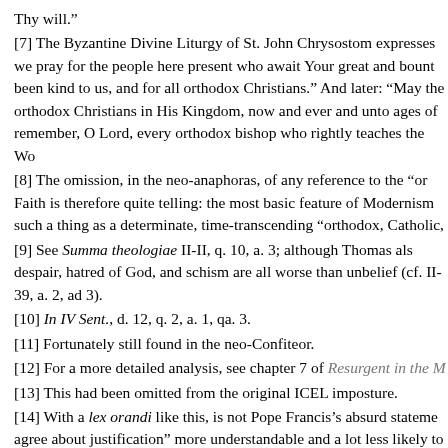Thy will.”
[7] The Byzantine Divine Liturgy of St. John Chrysostom expresses we pray for the people here present who await Your great and bount been kind to us, and for all orthodox Christians.” And later: “May the orthodox Christians in His Kingdom, now and ever and unto ages of remember, O Lord, every orthodox bishop who rightly teaches the Wo
[8] The omission, in the neo-anaphoras, of any reference to the “or Faith is therefore quite telling: the most basic feature of Modernism such a thing as a determinate, time-transcending “orthodox, Catholic,
[9] See Summa theologiae II-II, q. 10, a. 3; although Thomas als despair, hatred of God, and schism are all worse than unbelief (cf. II- 39, a. 2, ad 3).
[10] In IV Sent., d. 12, q. 2, a. 1, qa. 3.
[11] Fortunately still found in the neo-Confiteor.
[12] For a more detailed analysis, see chapter 7 of Resurgent in the M
[13] This had been omitted from the original ICEL imposture.
[14] With a lex orandi like this, is not Pope Francis’s absurd stateme agree about justification” more understandable and a lot less likely to